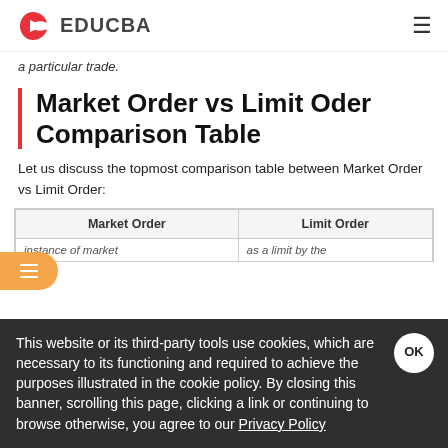EDUCBA
a particular trade.
Market Order vs Limit Oder Comparison Table
Let us discuss the topmost comparison table between Market Order vs Limit Order:
| Market Order | Limit Order |
| --- | --- |
| instance of market | as a limit by the |
This website or its third-party tools use cookies, which are necessary to its functioning and required to achieve the purposes illustrated in the cookie policy. By closing this banner, scrolling this page, clicking a link or continuing to browse otherwise, you agree to our Privacy Policy